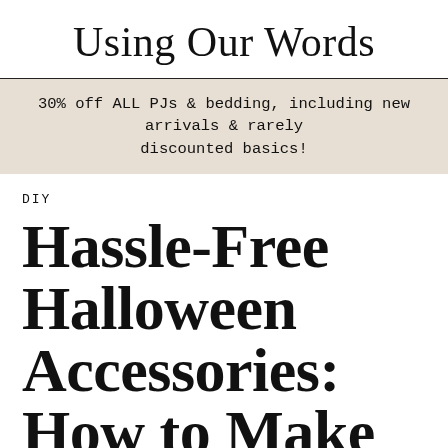Using Our Words
30% off ALL PJs & bedding, including new arrivals & rarely discounted basics!
DIY
Hassle-Free Halloween Accessories: How to Make No-Sew Tail in 5 Easy Steps